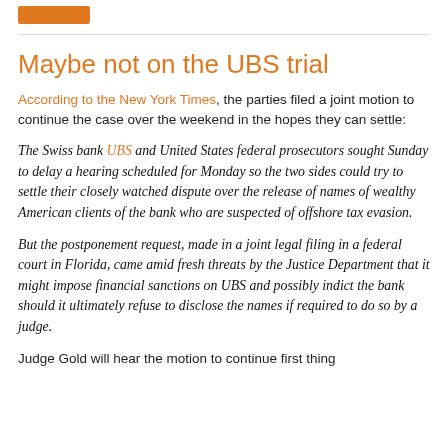Maybe not on the UBS trial
According to the New York Times, the parties filed a joint motion to continue the case over the weekend in the hopes they can settle:
The Swiss bank UBS and United States federal prosecutors sought Sunday to delay a hearing scheduled for Monday so the two sides could try to settle their closely watched dispute over the release of names of wealthy American clients of the bank who are suspected of offshore tax evasion.
But the postponement request, made in a joint legal filing in a federal court in Florida, came amid fresh threats by the Justice Department that it might impose financial sanctions on UBS and possibly indict the bank should it ultimately refuse to disclose the names if required to do so by a judge.
Judge Gold will hear the motion to continue first thing